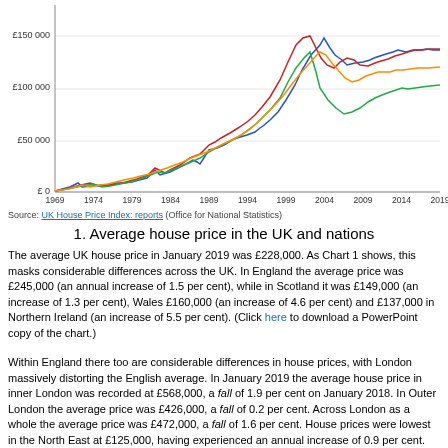[Figure (line-chart): Line chart showing average house prices in UK nations from 1969 to 2019]
Source: UK House Price Index: reports (Office for National Statistics)
1. Average house price in the UK and nations
The average UK house price in January 2019 was £228,000. As Chart 1 shows, this masks considerable differences across the UK. In England the average price was £245,000 (an annual increase of 1.5 per cent), while in Scotland it was £149,000 (an increase of 1.3 per cent), Wales £160,000 (an increase of 4.6 per cent) and £137,000 in Northern Ireland (an increase of 5.5 per cent). (Click here to download a PowerPoint copy of the chart.)
Within England there too are considerable differences in house prices, with London massively distorting the English average. In January 2019 the average house price in inner London was recorded at £568,000, a fall of 1.9 per cent on January 2018. In Outer London the average price was £426,000, a fall of 0.2 per cent. Across London as a whole the average price was £472,000, a fall of 1.6 per cent. House prices were lowest in the North East at £125,000, having experienced an annual increase of 0.9 per cent.